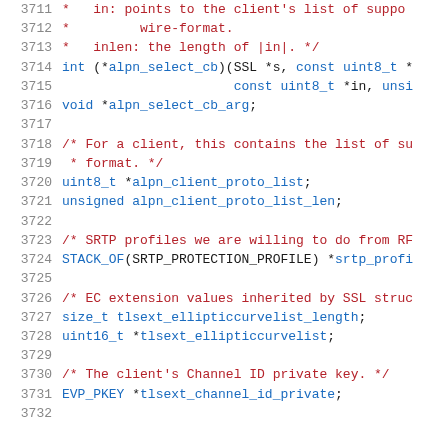Source code listing, lines 3711-3732, C header file with SSL/TLS struct fields